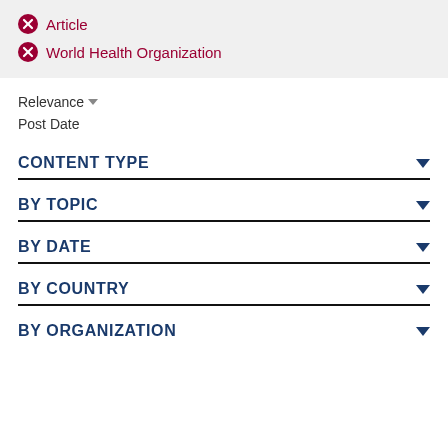Article
World Health Organization
Relevance
Post Date
CONTENT TYPE
BY TOPIC
BY DATE
BY COUNTRY
BY ORGANIZATION